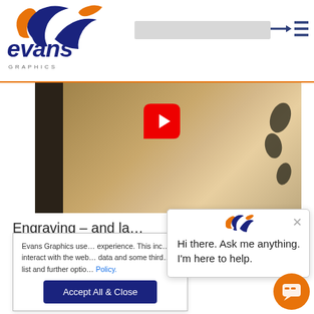[Figure (logo): Evans Graphics logo with orange and navy swoosh icon and italic navy 'evans' text with 'GRAPHICS' subtitle in grey below]
[Figure (screenshot): Video thumbnail showing hands working on paper/artwork with a red YouTube play button overlay]
Engraving – and la…
Evans Graphics use… experience. This inc… interact with the web… data and some third… list and further optio… Policy.
[Figure (screenshot): Chat popup widget saying 'Hi there. Ask me anything. I'm here to help.' with Evans Graphics logo and close button]
[Figure (other): Accept All & Close cookie consent button (dark navy rounded rectangle)]
[Figure (other): Orange circular chat support button in bottom right corner]